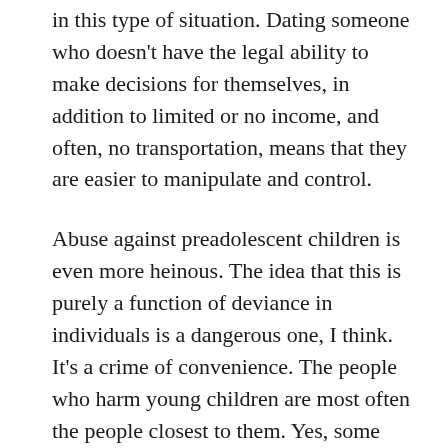in this type of situation. Dating someone who doesn't have the legal ability to make decisions for themselves, in addition to limited or no income, and often, no transportation, means that they are easier to manipulate and control.
Abuse against preadolescent children is even more heinous. The idea that this is purely a function of deviance in individuals is a dangerous one, I think. It's a crime of convenience. The people who harm young children are most often the people closest to them. Yes, some people get close to children on purpose, but there are also plenty of parents and close relatives who abuse their own children. One of the most common